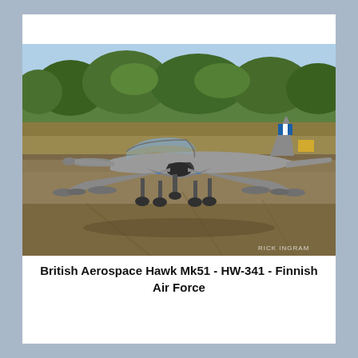[Figure (photo): A British Aerospace Hawk Mk51 jet trainer aircraft with Finnish Air Force markings (HW-341), painted silver/grey with blue and white fin flash, taxiing on a tarmac runway. Green trees visible in background, brown grass infield, clear summer day. Watermark 'RICK INGRAM' visible bottom right.]
British Aerospace Hawk Mk51 - HW-341 - Finnish Air Force